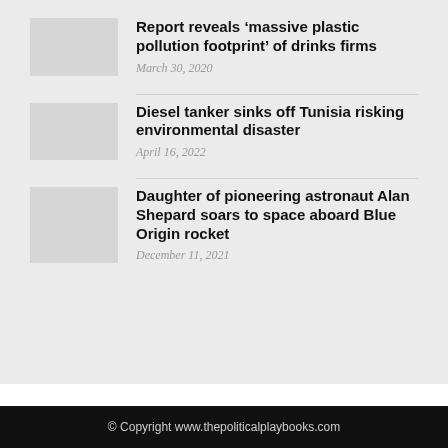Report reveals ‘massive plastic pollution footprint’ of drinks firms
March 30, 2020
Diesel tanker sinks off Tunisia risking environmental disaster
April 16, 2022
Daughter of pioneering astronaut Alan Shepard soars to space aboard Blue Origin rocket
December 11, 2021
© Copyright www.thepoliticalplaybooks.com